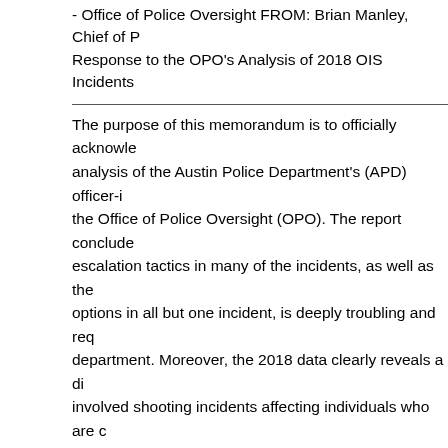- Office of Police Oversight FROM: Brian Manley, Chief of Police Response to the OPO's Analysis of 2018 OIS Incidents
The purpose of this memorandum is to officially acknowledge analysis of the Austin Police Department's (APD) officer-involved shooting incidents by the Office of Police Oversight (OPO). The report concluded that a lack of de-escalation tactics in many of the incidents, as well as the failure to consider other options in all but one incident, is deeply troubling and requires attention from the department. Moreover, the 2018 data clearly reveals a disproportionate number of officer-involved shooting incidents affecting individuals who are concentrated in areas of Austin that are historically minority-majority. APD must address both these racial and geographic disparities. APD's Philosophy - The use of force by law enforcement is a matter of critical concern both to the public and to the law enforcement community involved on a daily basis in numerous and varied human encounters requiring them to exercise control over another in carrying out their duties. APD's guiding philosophy respects the value of all human life and dignity without p